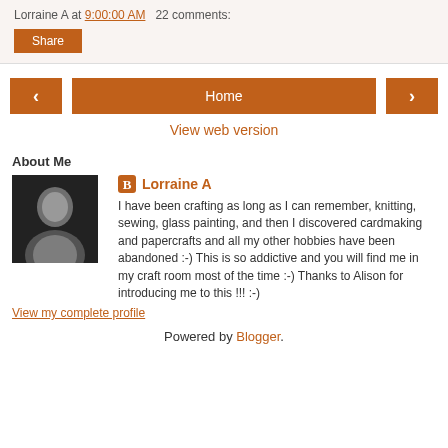Lorraine A at 9:00:00 AM   22 comments:
Share
‹  Home  ›  View web version
About Me
[Figure (photo): Black and white photo of Lorraine A]
Lorraine A
I have been crafting as long as I can remember, knitting, sewing, glass painting, and then I discovered cardmaking and papercrafts and all my other hobbies have been abandoned :-) This is so addictive and you will find me in my craft room most of the time :-) Thanks to Alison for introducing me to this !!! :-)
View my complete profile
Powered by Blogger.